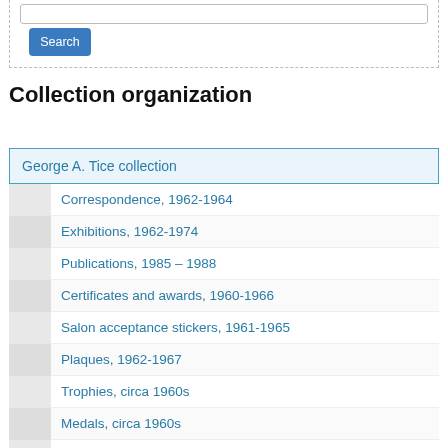Collection organization
George A. Tice collection
Correspondence, 1962-1964
Exhibitions, 1962-1974
Publications, 1985 – 1988
Certificates and awards, 1960-1966
Salon acceptance stickers, 1961-1965
Plaques, 1962-1967
Trophies, circa 1960s
Medals, circa 1960s
Ribbons, 1962-1965
Publications by Tice, book dummies, 1977